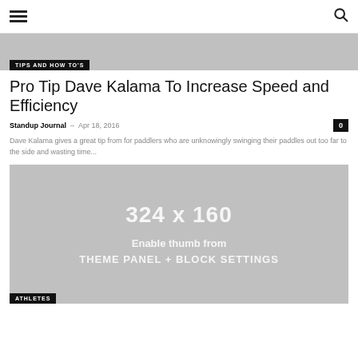☰ [menu] [search]
[Figure (photo): Gray hero image banner with 'TIPS AND HOW TO'S' category tag overlay at bottom left]
Pro Tip Dave Kalama To Increase Speed and Efficiency
Standup Journal – Apr 18, 2016  [0 comments]
Dave Kalama gives a great tip from for paddlers who are unknowingly swinging their paddles out too far to the side and wasting time...
[Figure (photo): Gray placeholder image 324 x 160 with text 'Enable thumb from THEME PANEL + BLOCK SETTINGS' and 'ATHLETES' category tag at bottom left]